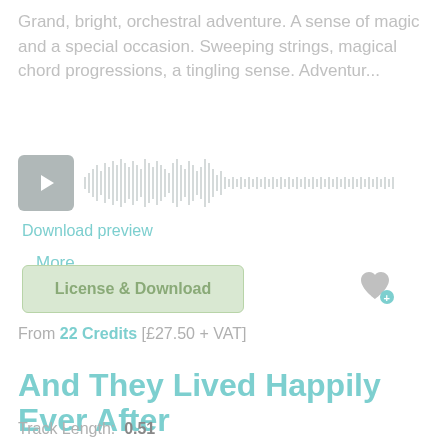Grand, bright, orchestral adventure. A sense of magic and a special occasion. Sweeping strings, magical chord progressions, a tingling sense. Adventur...
More details >
[Figure (other): Audio player with play button and waveform visualization]
Download preview
License & Download
From 22 Credits [£27.50 + VAT]
And They Lived Happily Ever After
Track Length: 0.51